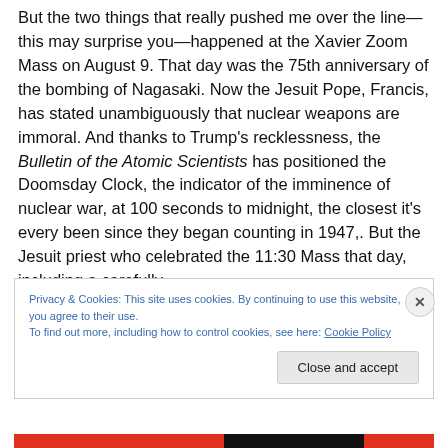But the two things that really pushed me over the line—this may surprise you—happened at the Xavier Zoom Mass on August 9. That day was the 75th anniversary of the bombing of Nagasaki. Now the Jesuit Pope, Francis, has stated unambiguously that nuclear weapons are immoral. And thanks to Trump's recklessness, the Bulletin of the Atomic Scientists has positioned the Doomsday Clock, the indicator of the imminence of nuclear war, at 100 seconds to midnight, the closest it's every been since they began counting in 1947,. But the Jesuit priest who celebrated the 11:30 Mass that day, including a carefully
Privacy & Cookies: This site uses cookies. By continuing to use this website, you agree to their use.
To find out more, including how to control cookies, see here: Cookie Policy
Close and accept